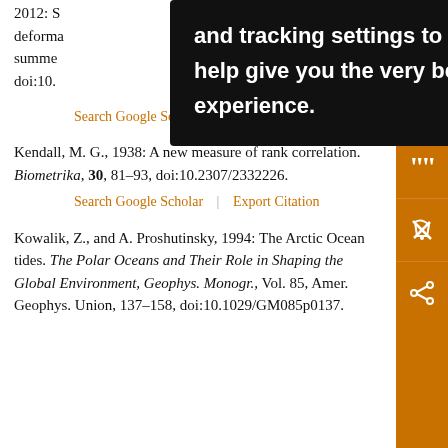2012: S… ice deforma… arly summer… doi:10.1…
and tracking settings to store information that help give you the very best browsing experience.
Search Google Scholar | Export Citation
Kendall, M. G., 1938: A new measure of rank correlation. Biometrika, 30, 81–93, doi:10.2307/2332226.
Search Google Scholar | Export Citation
Kowalik, Z., and A. Proshutinsky, 1994: The Arctic Ocean tides. The Polar Oceans and Their Role in Shaping the Global Environment, Geophys. Monogr., Vol. 85, Amer. Geophys. Union, 137–158, doi:10.1029/GM085p0137.